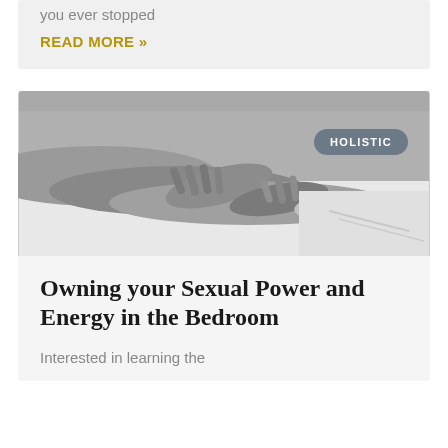you ever stopped
READ MORE »
[Figure (photo): Black and white photo of intertwined hands on a surface, with a 'HOLISTIC' badge overlay in the top right area]
Owning your Sexual Power and Energy in the Bedroom
Interested in learning the